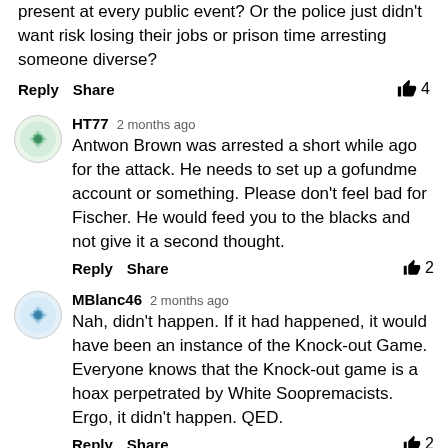present at every public event? Or the police just didn't want risk losing their jobs or prison time arresting someone diverse?
Reply  Share  👍 4
HT77  2 months ago
Antwon Brown was arrested a short while ago for the attack. He needs to set up a gofundme account or something. Please don't feel bad for Fischer. He would feed you to the blacks and not give it a second thought.
Reply  Share  👍 2
MBlanc46  2 months ago
Nah, didn't happen. If it had happened, it would have been an instance of the Knock-out Game. Everyone knows that the Knock-out game is a hoax perpetrated by White Soopremacists. Ergo, it didn't happen. QED.
Reply  Share  👍 2
SouthBoundTrain  2 months ago
Society no longer has an immune system